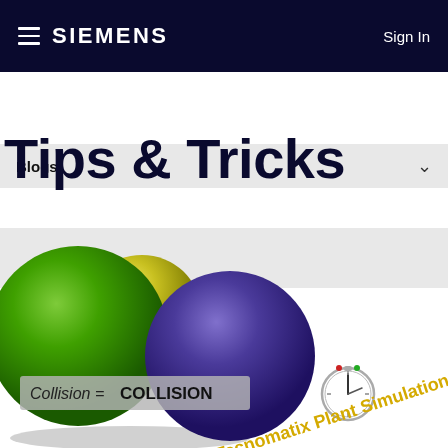SIEMENS  Sign In
Blogs
Tips & Tricks
[Figure (screenshot): 3D simulation screenshot showing two spheres (green and purple) intersecting with a label reading 'Collision = COLLISION', a stopwatch icon, and diagonal yellow text reading 'Tecnomatix Plant Simulation']